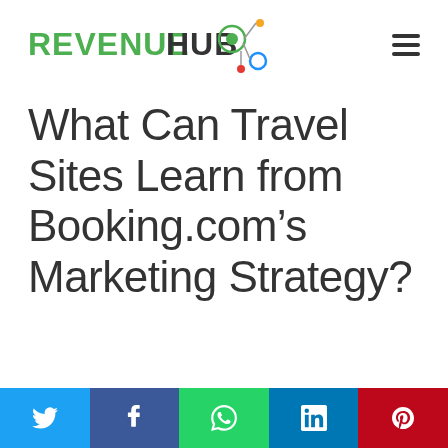[Figure (logo): Revenue Hub logo with green 'REVENUE' text, dark 'HUB' text, and a network/molecule icon with colored circles]
What Can Travel Sites Learn from Booking.com's Marketing Strategy?
[Figure (infographic): Social share bar with Twitter (light blue), Facebook (dark blue), WhatsApp (green), LinkedIn (blue), Pinterest (red) buttons with white icons]